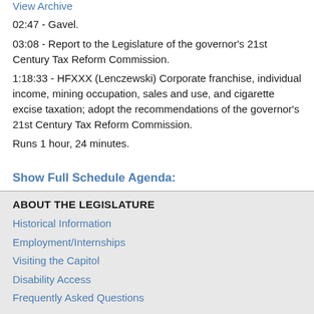View Archive
02:47 - Gavel.
03:08 - Report to the Legislature of the governor's 21st Century Tax Reform Commission.
1:18:33 - HFXXX (Lenczewski) Corporate franchise, individual income, mining occupation, sales and use, and cigarette excise taxation; adopt the recommendations of the governor's 21st Century Tax Reform Commission.
Runs 1 hour, 24 minutes.
Show Full Schedule Agenda:
ABOUT THE LEGISLATURE
Historical Information
Employment/Internships
Visiting the Capitol
Disability Access
Frequently Asked Questions
CONTACT YOUR LEGISLATOR
Who Represents Me?
House Members